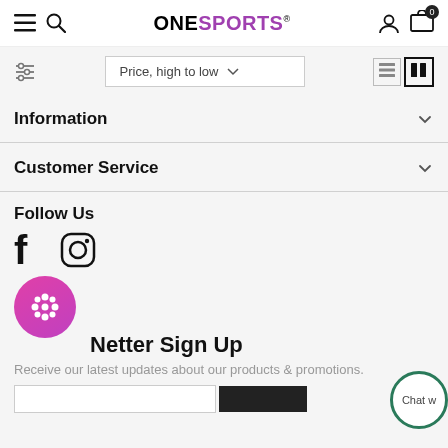ONE SPORTS — navigation header with menu, search, account, cart (0)
Price, high to low (sort dropdown)
Information
Customer Service
Follow Us
[Figure (illustration): Facebook and Instagram social media icons, plus a pink circular Linktree button with flower icon]
Newsletter Sign Up
Receive our latest updates about our products & promotions.
[Figure (illustration): Chat widget button, partially visible on right edge]